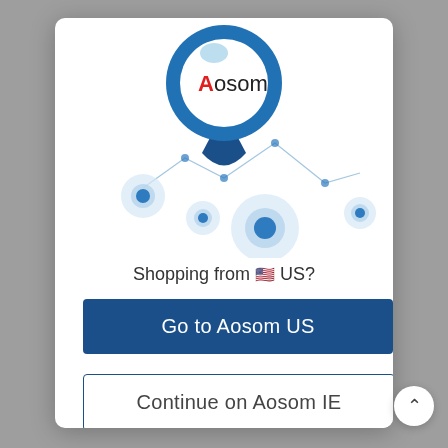[Figure (logo): Aosom location pin logo with map network illustration. Large blue map pin with Aosom logo (red A, black 'osom') in a white circle, connected by blue lines to smaller location dot markers scattered across a stylized map area.]
Shopping from 🇺🇸 US?
Go to Aosom US
Continue on Aosom IE